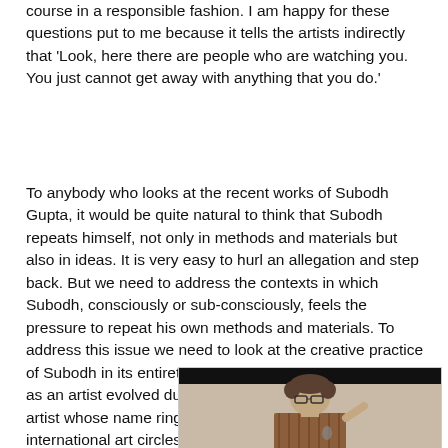course in a responsible fashion. I am happy for these questions put to me because it tells the artists indirectly that 'Look, here there are people who are watching you. You just cannot get away with anything that you do.'
To anybody who looks at the recent works of Subodh Gupta, it would be quite natural to think that Subodh repeats himself, not only in methods and materials but also in ideas. It is very easy to hurl an allegation and step back. But we need to address the contexts in which Subodh, consciously or sub-consciously, feels the pressure to repeat his own methods and materials. To address this issue we need to look at the creative practice of Subodh in its entirety. Also we need to see how Subodh as an artist evolved during the last two decades as an artist whose name rings familiar when uttered even in the international art circles.
[Figure (photo): A person with glasses and curly hair speaking or gesturing, photographed against a light background, with a black bar at the top of the image frame.]